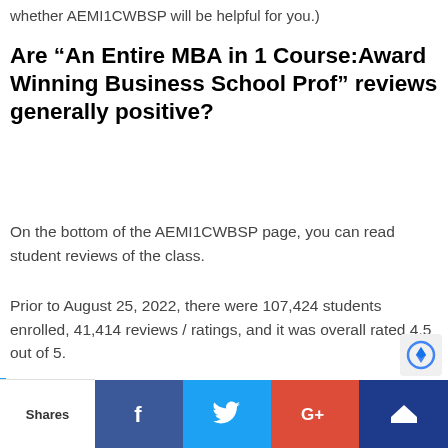whether AEMI1CWBSP will be helpful for you.)
Are “An Entire MBA in 1 Course:Award Winning Business School Prof” reviews generally positive?
On the bottom of the AEMI1CWBSP page, you can read student reviews of the class.
Prior to August 25, 2022, there were 107,424 students enrolled, 41,414 reviews / ratings, and it was overall rated 4.5 out of 5.
Obviously, the more highly other students rate AEMI1CWBSP the better, but no matter what, keep an open mind when reading the reviews, since you might still like a course a great deal that other students dislike.